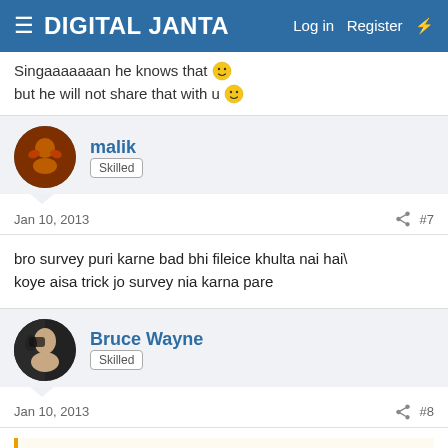DIGITAL JANTA   Log in   Register
Singaaaaaaan he knows that 😊 but he will not share that with u 😊
malik
Skilled
Jan 10, 2013   #7
bro survey puri karne bad bhi fileice khulta nai hai\ koye aisa trick jo survey nia karna pare
Bruce Wayne
Skilled
Jan 10, 2013   #8
"malik said: